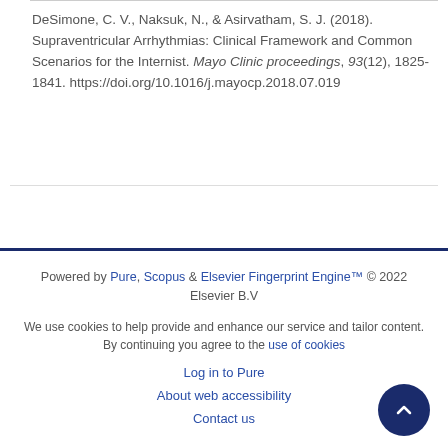DeSimone, C. V., Naksuk, N., & Asirvatham, S. J. (2018). Supraventricular Arrhythmias: Clinical Framework and Common Scenarios for the Internist. Mayo Clinic proceedings, 93(12), 1825-1841. https://doi.org/10.1016/j.mayocp.2018.07.019
Powered by Pure, Scopus & Elsevier Fingerprint Engine™ © 2022 Elsevier B.V

We use cookies to help provide and enhance our service and tailor content. By continuing you agree to the use of cookies

Log in to Pure

About web accessibility

Contact us